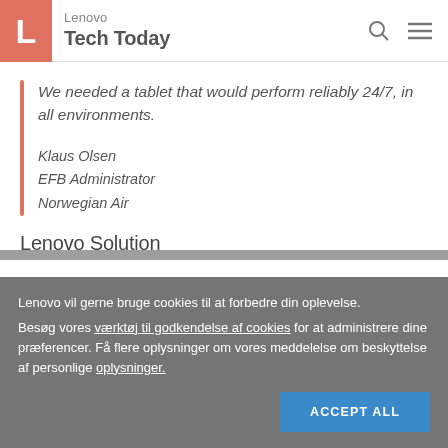Lenovo Tech Today
We needed a tablet that would perform reliably 24/7, in all environments.

Klaus Olsen
EFB Administrator
Norwegian Air
Lenovo Solution
Lenovo vil gerne bruge cookies til at forbedre din oplevelse. Besøg vores værktøj til godkendelse af cookies for at administrere dine præferencer. Få flere oplysninger om vores meddelelse om beskyttelse af personlige oplysninger.